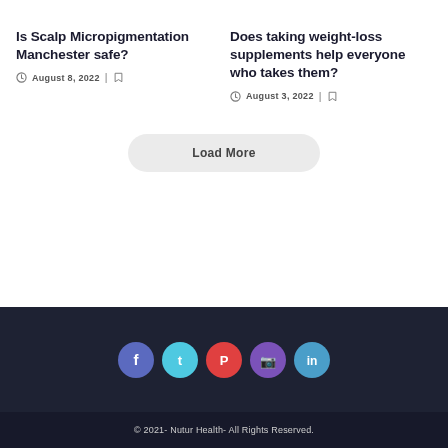Is Scalp Micropigmentation Manchester safe?
August 8, 2022
Does taking weight-loss supplements help everyone who takes them?
August 3, 2022
Load More
[Figure (other): Social media icons: Facebook, Twitter, Pinterest, Instagram, LinkedIn]
© 2021- Nutur Health- All Rights Reserved.